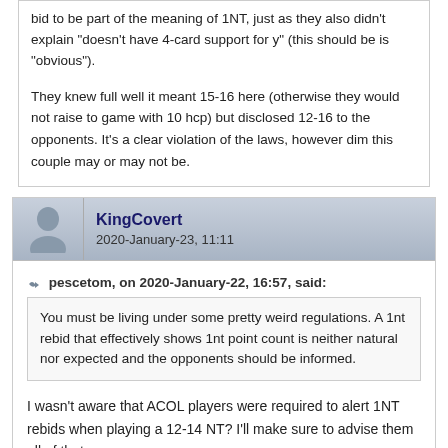bid to be part of the meaning of 1NT, just as they also didn't explain "doesn't have 4-card support for y" (this should be is "obvious").
They knew full well it meant 15-16 here (otherwise they would not raise to game with 10 hcp) but disclosed 12-16 to the opponents. It's a clear violation of the laws, however dim this couple may or may not be.
KingCovert
2020-January-23, 11:11
pescetom, on 2020-January-22, 16:57, said:
You must be living under some pretty weird regulations. A 1nt rebid that effectively shows 1nt point count is neither natural nor expected and the opponents should be informed.
I wasn't aware that ACOL players were required to alert 1NT rebids when playing a 12-14 NT? I'll make sure to advise them all of that.
Okay, I'm being rather sarcastic obviously, but, the point is valid. You